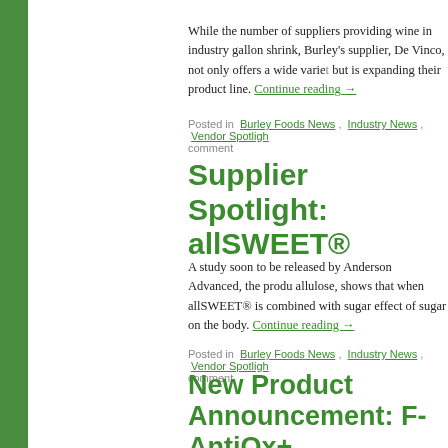While the number of suppliers providing wine in industry gallon shrink, Burley's supplier, De Vinco, not only offers a wide variety but is expanding their product line. Continue reading →
Posted in  Burley Foods News ,  Industry News ,  Vendor Spotlight comment
Supplier Spotlight: allSWEET®
A study soon to be released by Anderson Advanced, the producer of allulose, shows that when allSWEET® is combined with sugar effect of sugar on the body. Continue reading →
Posted in  Burley Foods News ,  Industry News ,  Vendor Spotlight comment
New Product Announcement: F- AntiOx+